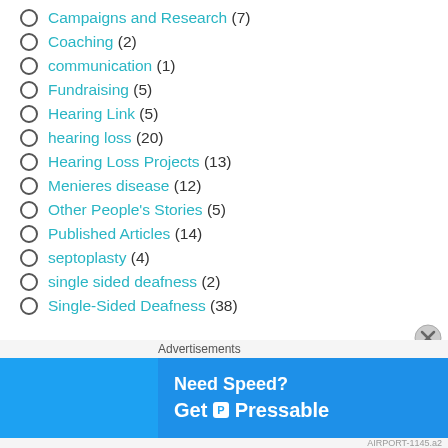Campaigns and Research (7)
Coaching (2)
communication (1)
Fundraising (5)
Hearing Link (5)
hearing loss (20)
Hearing Loss Projects (13)
Menieres disease (12)
Other People's Stories (5)
Published Articles (14)
septoplasty (4)
single sided deafness (2)
Single-Sided Deafness (38)
Advertisements
[Figure (infographic): Advertisement banner: 'Need Speed? Get Pressable' with a skydiving figure on blue background]